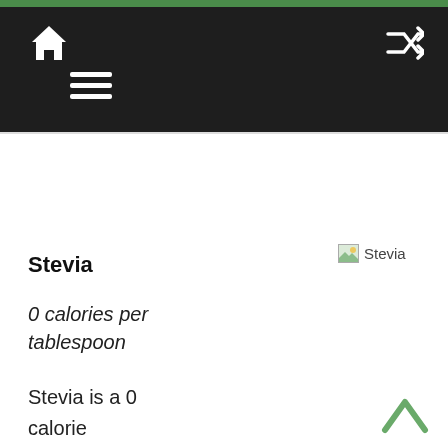Navigation bar with home icon, hamburger menu, and shuffle icon
Stevia
[Figure (photo): Broken image placeholder labeled 'Stevia']
0 calories per tablespoon
Stevia is a 0 calorie sweetener made from the leaves of the Stevia plant. Stevia is